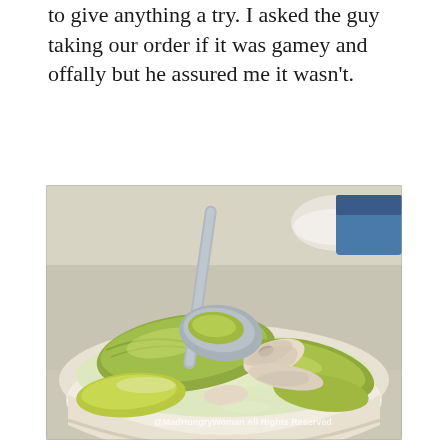to give anything a try. I asked the guy taking our order if it was gamey and offally but he assured me it wasn't.
[Figure (photo): A bowl of soup containing green bitter melon slices and pork bones in a milky white broth, with a ladle resting in the bowl. A white bowl and a person in a blue shirt are visible in the background. Watermark reads '@MadHungryWoman All Rights Reserved'.]